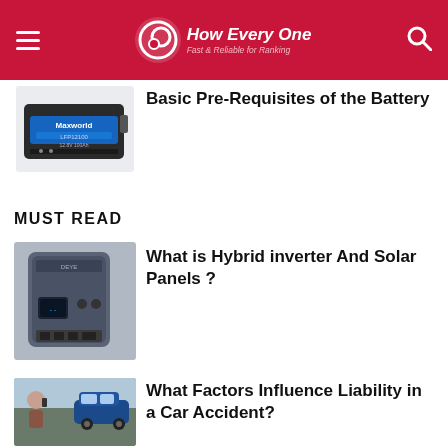How Every One — Fast & Reliable for Ranking
Basic Pre-Requisites of the Battery
MUST READ
What is Hybrid inverter And Solar Panels ?
What Factors Influence Liability in a Car Accident?